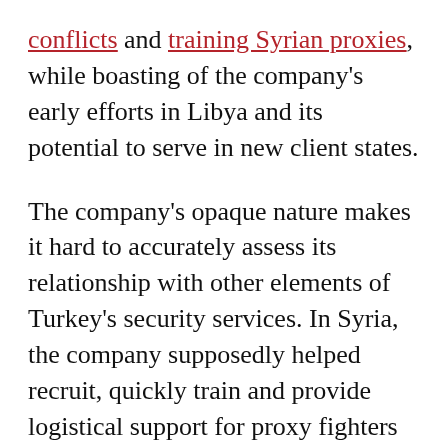conflicts and training Syrian proxies, while boasting of the company's early efforts in Libya and its potential to serve in new client states.
The company's opaque nature makes it hard to accurately assess its relationship with other elements of Turkey's security services. In Syria, the company supposedly helped recruit, quickly train and provide logistical support for proxy fighters — but the significance of SADAT's role compared to other Turkish agencies involved is unclear. In Libya, SADAT facilitated operations with